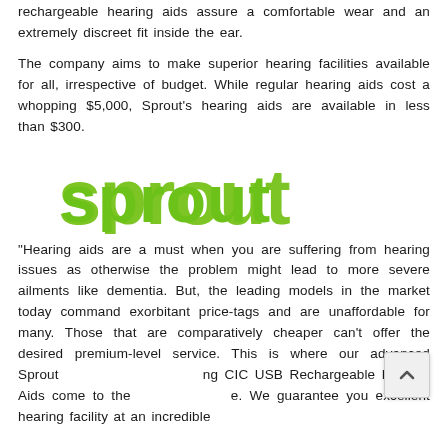rechargeable hearing aids assure a comfortable wear and an extremely discreet fit inside the ear.
The company aims to make superior hearing facilities available for all, irrespective of budget. While regular hearing aids cost a whopping $5,000, Sprout’s hearing aids are available in less than $300.
[Figure (logo): Sprout logo in green stylized lowercase lettering]
“Hearing aids are a must when you are suffering from hearing issues as otherwise the problem might lead to more severe ailments like dementia. But, the leading models in the market today command exorbitant price-tags and are unaffordable for many. Those that are comparatively cheaper can’t offer the desired premium-level service. This is where our advanced Sprout [scroll button] CIC USB Rechargeable Hearing Aids come to the [scroll button] rescue. We guarantee you excellent hearing facility at an incredible